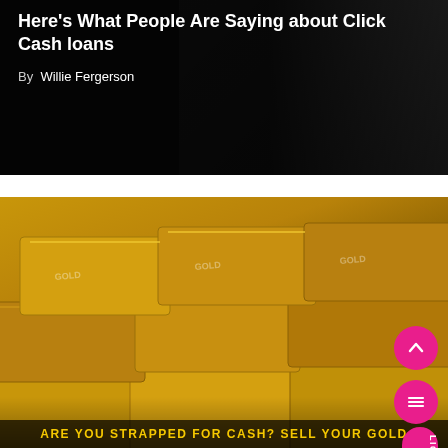Here's What People Are Saying about Click Cash loans
By  Willie Fergerson
[Figure (photo): Gold bars stacked together with golden yellow color and engraved text showing GOLD markings]
ARE YOU STRAPPED FOR CASH? SELL YOUR GOLD